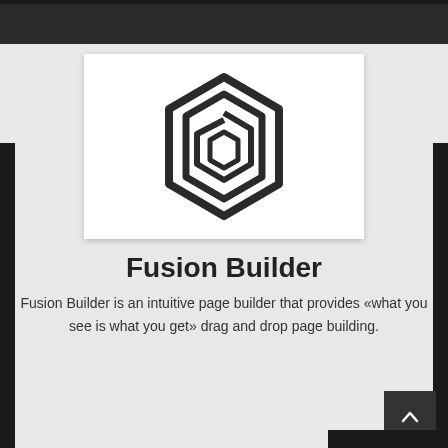[Figure (logo): Fusion Builder hexagonal logo mark — a stylized spiral/arrow inside a hexagon outline, rendered in dark charcoal on white background]
Fusion Builder
Fusion Builder is an intuitive page builder that provides «what you see is what you get» drag and drop page building.